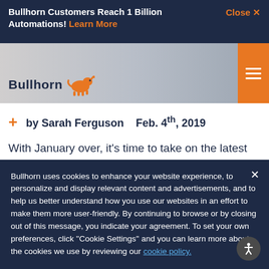Bullhorn Customers Reach 1 Billion Automations! Learn More   Close ✕
[Figure (screenshot): Bullhorn website header with logo and hamburger menu button on a gray background]
+ by Sarah Ferguson   Feb. 4th, 2019
With January over, it's time to take on the latest Bullhorn feature and functionality updates, exclusive...
Bullhorn uses cookies to enhance your website experience, to personalize and display relevant content and advertisements, and to help us better understand how you use our websites in an effort to make them more user-friendly. By continuing to browse or by closing out of this message, you indicate your agreement. To set your own preferences, click ''Cookie Settings'' and you can learn more about the cookies we use by reviewing our cookie policy.